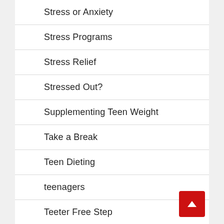Stress or Anxiety
Stress Programs
Stress Relief
Stressed Out?
Supplementing Teen Weight
Take a Break
Teen Dieting
teenagers
Teeter Free Step